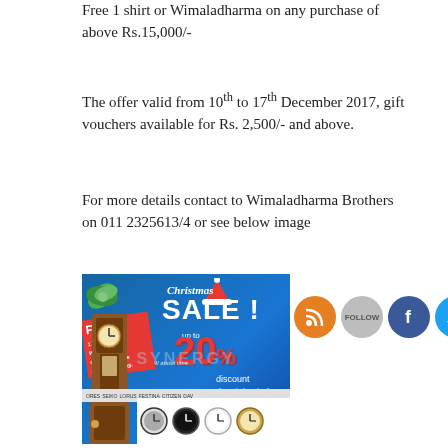Free 1 shirt or Wimaladharma on any purchase of above Rs.15,000/-
The offer valid from 10th to 17th December 2017, gift vouchers available for Rs. 2,500/- and above.
For more details contact to Wimaladharma Brothers on 011 2325613/4 or see below image
[Figure (illustration): Christmas Sale advertisement for Wimaladharma Brothers showing up to 20% discount on Watches & Clocks with social media icons (RSS, Follow, Facebook, Twitter)]